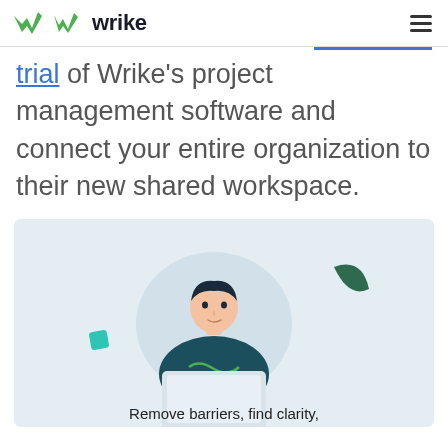[Figure (logo): Wrike logo with green checkmark icon and 'wrike' text in dark]
trial of Wrike's project management software and connect your entire organization to their new shared workspace.
[Figure (illustration): Illustration of a person working on a laptop with decorative green shapes on a light blue-grey background, with text 'Remove barriers, find clarity,' at the bottom]